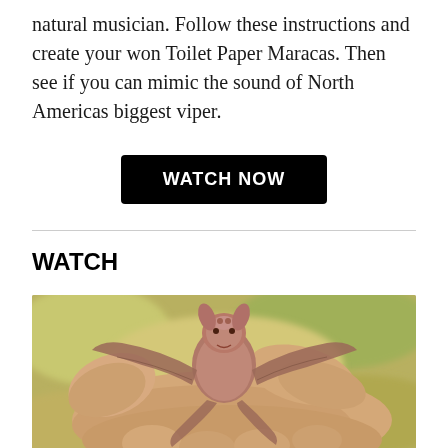natural musician. Follow these instructions and create your won Toilet Paper Maracas. Then see if you can mimic the sound of North Americas biggest viper.
WATCH NOW
WATCH
[Figure (photo): A small hairless baby bat being held between a person's fingers and thumb, wings spread open, against a blurred outdoor background.]